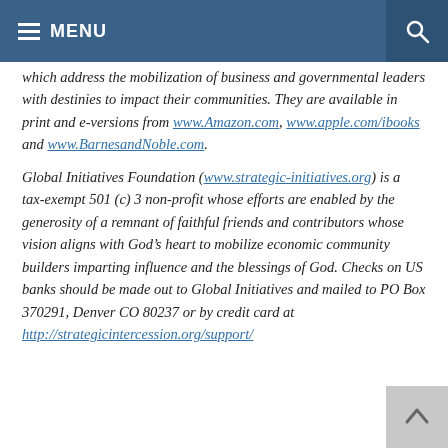MENU
which address the mobilization of business and governmental leaders with destinies to impact their communities. They are available in print and e-versions from www.Amazon.com, www.apple.com/ibooks and www.BarnesandNoble.com.
Global Initiatives Foundation (www.strategic-initiatives.org) is a tax-exempt 501 (c) 3 non-profit whose efforts are enabled by the generosity of a remnant of faithful friends and contributors whose vision aligns with God’s heart to mobilize economic community builders imparting influence and the blessings of God. Checks on US banks should be made out to Global Initiatives and mailed to PO Box 370291, Denver CO 80237 or by credit card at http://strategicintercession.org/support/